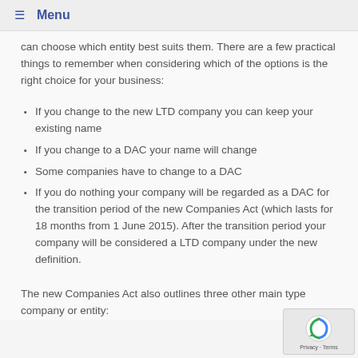Menu
can choose which entity best suits them. There are a few practical things to remember when considering which of the options is the right choice for your business:
If you change to the new LTD company you can keep your existing name
If you change to a DAC your name will change
Some companies have to change to a DAC
If you do nothing your company will be regarded as a DAC for the transition period of the new Companies Act (which lasts for 18 months from 1 June 2015). After the transition period your company will be considered a LTD company under the new definition.
The new Companies Act also outlines three other main type company or entity: